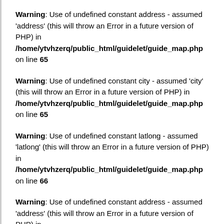Warning: Use of undefined constant address - assumed 'address' (this will throw an Error in a future version of PHP) in /home/ytvhzerq/public_html/guidelet/guide_map.php on line 65
Warning: Use of undefined constant city - assumed 'city' (this will throw an Error in a future version of PHP) in /home/ytvhzerq/public_html/guidelet/guide_map.php on line 65
Warning: Use of undefined constant latlong - assumed 'latlong' (this will throw an Error in a future version of PHP) in /home/ytvhzerq/public_html/guidelet/guide_map.php on line 66
Warning: Use of undefined constant address - assumed 'address' (this will throw an Error in a future version of PHP) in /home/ytvhzerq/public_html/guidelet/guide_map.php on line 65
Warning: Use of undefined constant city - assumed 'city' (this